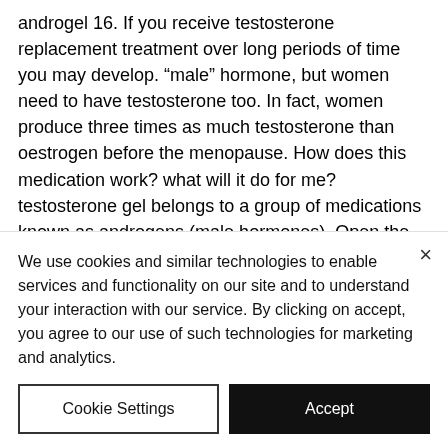androgel 16. If you receive testosterone replacement treatment over long periods of time you may develop. “male” hormone, but women need to have testosterone too. In fact, women produce three times as much testosterone than oestrogen before the menopause. How does this medication work? what will it do for me? testosterone gel belongs to a group of medications known as androgens (male hormones). Open the gel pump or packet. If your child has a pump, press down on the dispenser a few times until the gel comes out. Squirt the extra gel.
We use cookies and similar technologies to enable services and functionality on our site and to understand your interaction with our service. By clicking on accept, you agree to our use of such technologies for marketing and analytics.